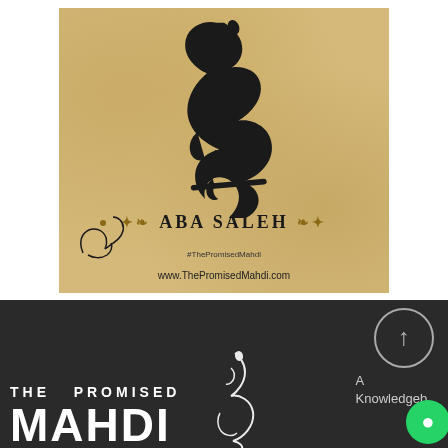[Figure (illustration): Parchment-textured image with large Arabic calligraphy in black, text 'ABA SALEH' with golden ornamental decorations, hashtag #ThePromisedMahdi, website www.ThePromisedMahdi.com, and a small Arabic script logo in bottom-left corner]
[Figure (logo): Dark background section with 'THE PROMISED MAHDI' logo text in white bold letters, Arabic calligraphic emblem, a circular scroll-up button, partial text 'A Knowledgeb...' on the right, and a green chat button]